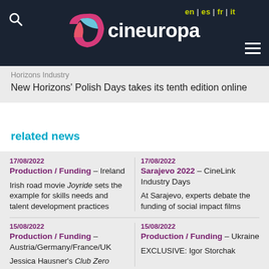cineuropa — en | es | fr | it
Horizons Industry
New Horizons' Polish Days takes its tenth edition online
related news
17/08/2022 Production / Funding – Ireland
Irish road movie Joyride sets the example for skills needs and talent development practices
17/08/2022 Sarajevo 2022 – CineLink Industry Days
At Sarajevo, experts debate the funding of social impact films
15/08/2022 Production / Funding – Austria/Germany/France/UK
Jessica Hausner's Club Zero
15/08/2022 Production / Funding – Ukraine
EXCLUSIVE: Igor Storchak